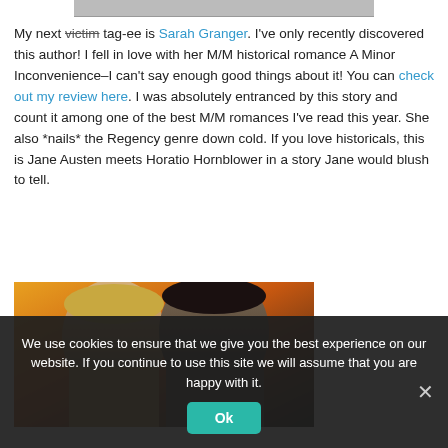[Figure (photo): Partial top image, cropped at top of page]
My next victim tag-ee is Sarah Granger. I've only recently discovered this author! I fell in love with her M/M historical romance A Minor Inconvenience–I can't say enough good things about it! You can check out my review here. I was absolutely entranced by this story and count it among one of the best M/M romances I've read this year. She also *nails* the Regency genre down cold. If you love historicals, this is Jane Austen meets Horatio Hornblower in a story Jane would blush to tell.
[Figure (photo): Book cover photo showing two men (one blond, one dark-haired) against a warm orange/amber background — appears to be the cover of A Minor Inconvenience by Sarah Granger]
We use cookies to ensure that we give you the best experience on our website. If you continue to use this site we will assume that you are happy with it.